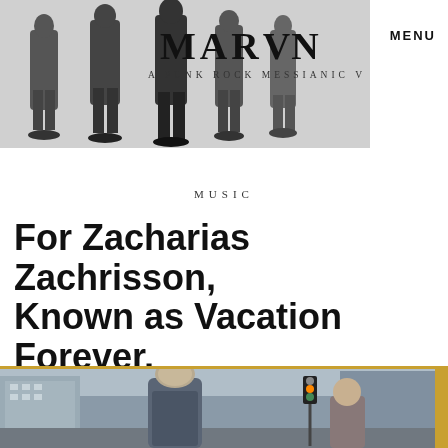MARVN — A PUNK ROCK MESSIANIC V — MENU
MUSIC
For Zacharias Zachrisson, Known as Vacation Forever, Punk is in His Genes
[Figure (photo): A young blond man standing on a city street with buildings and traffic lights in the background; a woman visible behind him on the right.]